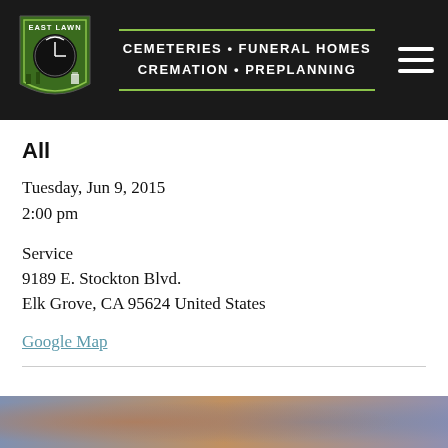[Figure (logo): East Lawn logo with shield shape, green background, clock/bird design, and text EAST LAWN]
CEMETERIES • FUNERAL HOMES
CREMATION • PREPLANNING
All
Tuesday, Jun 9, 2015
2:00 pm
Service
9189 E. Stockton Blvd.
Elk Grove, CA 95624 United States
Google Map
[Figure (photo): Partial photo at bottom of page, colorful blurred background]